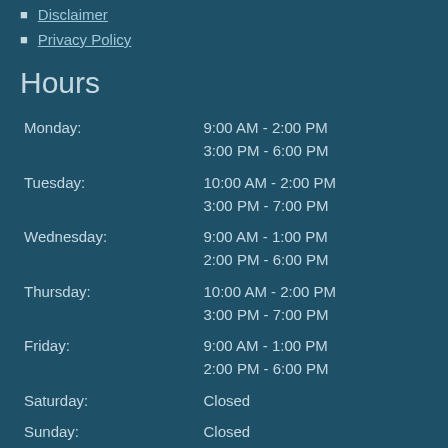Disclaimer
Privacy Policy
Hours
| Day | Hours |
| --- | --- |
| Monday: | 9:00 AM - 2:00 PM
3:00 PM - 6:00 PM |
| Tuesday: | 10:00 AM - 2:00 PM
3:00 PM - 7:00 PM |
| Wednesday: | 9:00 AM - 1:00 PM
2:00 PM - 6:00 PM |
| Thursday: | 10:00 AM - 2:00 PM
3:00 PM - 7:00 PM |
| Friday: | 9:00 AM - 1:00 PM
2:00 PM - 6:00 PM |
| Saturday: | Closed |
| Sunday: | Closed |